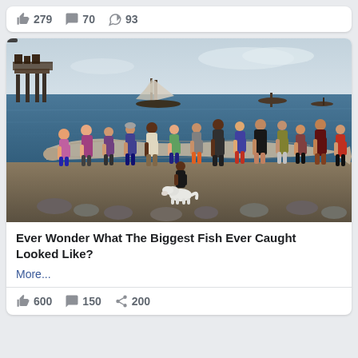👍 279  💬 70  ➦ 93
[Figure (photo): Group of approximately 15-20 people standing on a beach holding an extremely large, long oarfish (or similarly giant deep-sea fish) horizontally between them. A white dog stands in front. In the background is a pier on the left, a tall-masted sailing ship, and several boats on the ocean. The sky is overcast.]
Ever Wonder What The Biggest Fish Ever Caught Looked Like?
More...
👍 600  💬 150  ➦ 200